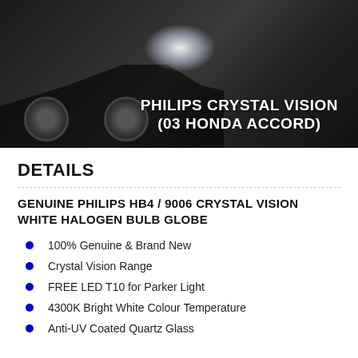[Figure (photo): Dark photo of a car front end (Honda Accord) with headlights glowing. White bold text overlay reads: PHILIPS CRYSTAL VISION (03 HONDA ACCORD)]
DETAILS
GENUINE PHILIPS HB4 / 9006 CRYSTAL VISION WHITE HALOGEN BULB GLOBE
100% Genuine & Brand New
Crystal Vision Range
FREE LED T10 for Parker Light
4300K Bright White Colour Temperature
Anti-UV Coated Quartz Glass